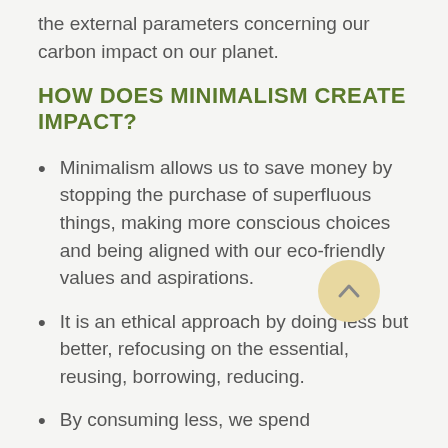the external parameters concerning our carbon impact on our planet.
HOW DOES MINIMALISM CREATE IMPACT?
Minimalism allows us to save money by stopping the purchase of superfluous things, making more conscious choices and being aligned with our eco-friendly values and aspirations.
It is an ethical approach by doing less but better, refocusing on the essential, reusing, borrowing, reducing.
By consuming less, we spend